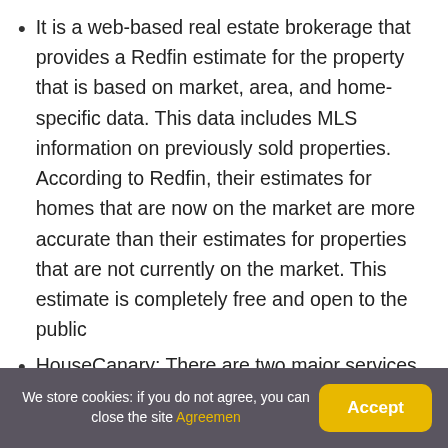It is a web-based real estate brokerage that provides a Redfin estimate for the property that is based on market, area, and home-specific data. This data includes MLS information on previously sold properties. According to Redfin, their estimates for homes that are now on the market are more accurate than their estimates for properties that are not currently on the market. This estimate is completely free and open to the public
HouseCanary: There are two major services provided by HouseCanary: valuations and predictions. Their estimations are based on
We store cookies: if you do not agree, you can close the site Agreemen